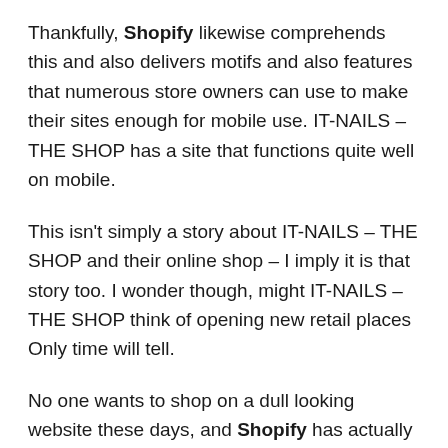Thankfully, Shopify likewise comprehends this and also delivers motifs and also features that numerous store owners can use to make their sites enough for mobile use. IT-NAILS – THE SHOP has a site that functions quite well on mobile.
This isn't simply a story about IT-NAILS – THE SHOP and their online shop – I imply it is that story too. I wonder though, might IT-NAILS – THE SHOP think of opening new retail places Only time will tell.
No one wants to shop on a dull looking website these days, and Shopify has actually made it possible for online merchants to improve their stores' stylish looks. IT-NAILS – THE SHOP has a well laid out shop and also takes full advantage of some of these innovative features 😊